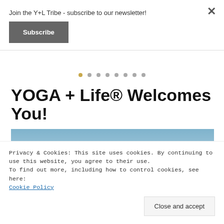Join the Y+L Tribe - subscribe to our newsletter!
Subscribe
[Figure (other): Carousel dot navigation with 8 dots, first dot gold/active, rest grey]
YOGA + Life® Welcomes You!
[Figure (photo): Sky and horizon landscape photo with blue sky gradient fading to warm tones at the bottom]
Privacy & Cookies: This site uses cookies. By continuing to use this website, you agree to their use.
To find out more, including how to control cookies, see here:
Cookie Policy
Close and accept